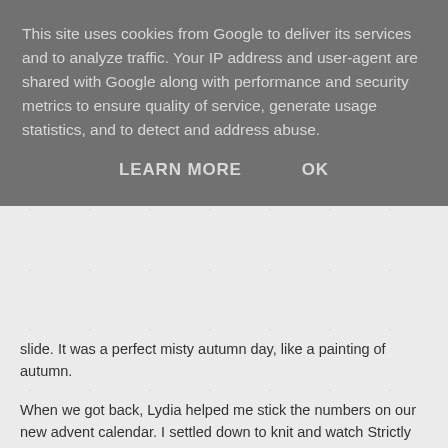This site uses cookies from Google to deliver its services and to analyze traffic. Your IP address and user-agent are shared with Google along with performance and security metrics to ensure quality of service, generate usage statistics, and to detect and address abuse.
LEARN MORE    OK
slide. It was a perfect misty autumn day, like a painting of autumn.
When we got back, Lydia helped me stick the numbers on our new advent calendar. I settled down to knit and watch Strictly whilst she played with various toys and helped Tom make pie for today's dinner and jelly for tomorrow.
[Figure (photo): Photograph of a wooden advent calendar shaped like a house/tree with numbered drawers, against a light beige/cream background.]